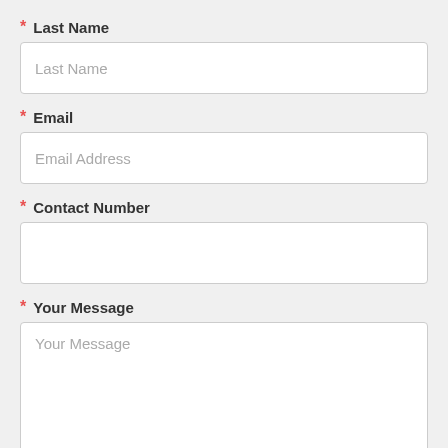* Last Name
Last Name
* Email
Email Address
* Contact Number
* Your Message
Your Message
Submit Form